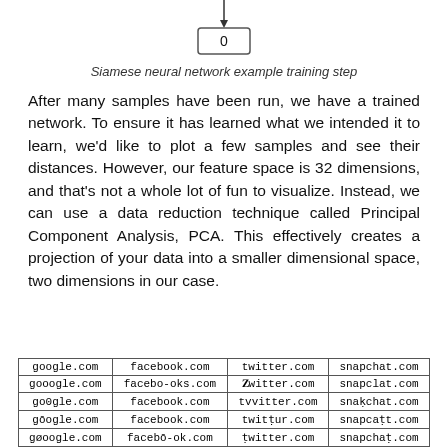[Figure (flowchart): Bottom portion of a Siamese neural network flowchart showing a box labeled '0' with an arrow pointing into it from above.]
Siamese neural network example training step
After many samples have been run, we have a trained network. To ensure it has learned what we intended it to learn, we'd like to plot a few samples and see their distances. However, our feature space is 32 dimensions, and that's not a whole lot of fun to visualize. Instead, we can use a data reduction technique called Principal Component Analysis, PCA. This effectively creates a projection of your data into a smaller dimensional space, two dimensions in our case.
| google.com | facebook.com | twitter.com | snapchat.com |
| gooogle.com | facebo-oks.com | twitter.com | snapclat.com |
| go0gle.com | facebook.com | tvvitter.com | snapbchat.com |
| gōogle.com | facebook.com | twittur.com | snapcatt.com |
| gøoogle.com | facebo-ok.com | twitter.com | snapchat.com |